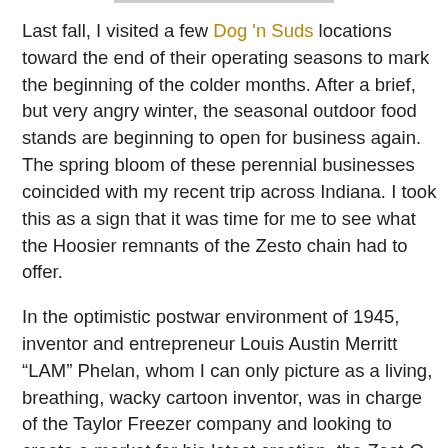Last fall, I visited a few Dog 'n Suds locations toward the end of their operating seasons to mark the beginning of the colder months. After a brief, but very angry winter, the seasonal outdoor food stands are beginning to open for business again. The spring bloom of these perennial businesses coincided with my recent trip across Indiana. I took this as a sign that it was time for me to see what the Hoosier remnants of the Zesto chain had to offer.
In the optimistic postwar environment of 1945, inventor and entrepreneur Louis Austin Merritt “LAM” Phelan, whom I can only picture as a living, breathing, wacky cartoon inventor, was in charge of the Taylor Freezer company and looking to create a market for his latest creation, the Zest-O-Mat frozen custard machine. Zesto, a chain of franchised frozen custard stands which had the exclusive, and mandatory rights to use Zest-O-Mat machines was the result. The chain expanded nationally during those prosperous years. Following a tumultuous decade, however, Taylor Freezer management,